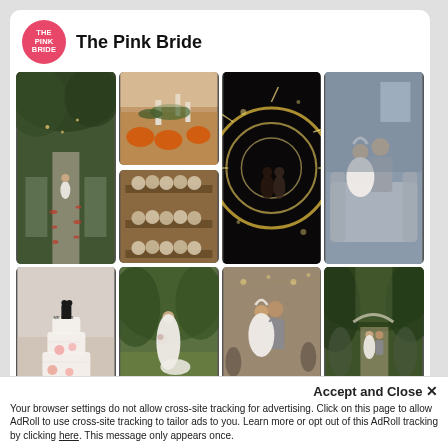[Figure (logo): The Pink Bride circular pink logo]
The Pink Bride
[Figure (photo): Wedding ceremony outdoors with bride walking down aisle lined with flower petals under tree canopy]
[Figure (photo): Wedding reception table setting with candles and orange plates]
[Figure (photo): Display of small round pastries/macarons on wooden shelf]
[Figure (photo): Couple surrounded by sparkler circle light trails during night reception]
[Figure (photo): Bride and groom embracing on couch/sofa in intimate moment]
[Figure (photo): White wedding cake with pink flowers and Mr & Mrs cake topper]
[Figure (photo): Bride in white dress standing in green garden/park outdoors]
[Figure (photo): Couple dancing together at wedding reception]
[Figure (photo): Wedding recessional outdoors with guests lining path under green trees]
Accept and Close ×
Your browser settings do not allow cross-site tracking for advertising. Click on this page to allow AdRoll to use cross-site tracking to tailor ads to you. Learn more or opt out of this AdRoll tracking by clicking here. This message only appears once.